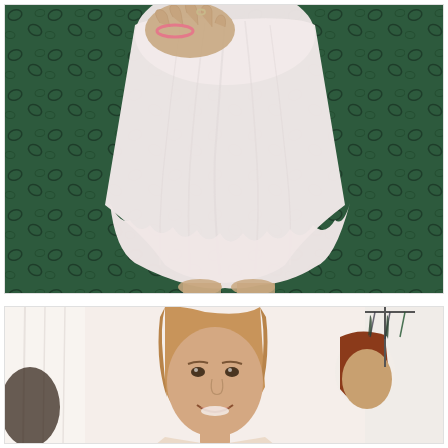[Figure (photo): Close-up photo of a person wearing a flowing white/light pink chiffon dress, standing on a dark green patterned carpet. Only the torso and legs are visible; hand with ring and pink bracelet rests on the dress. The scalloped hem of the dress is visible.]
[Figure (photo): Photo inside what appears to be a clothing store fitting area. A young woman with long blonde/auburn hair smiles at the camera. In the background another person with red hair is seen from behind looking at hanging clothes. White curtains and clothing racks are visible.]